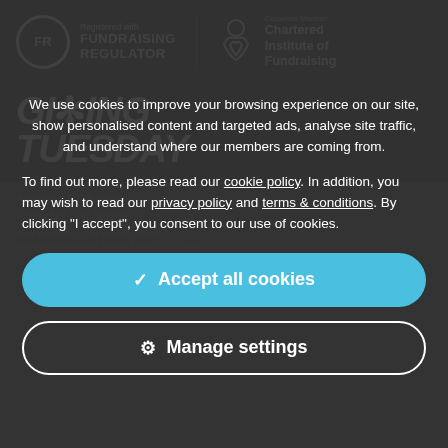[Figure (logo): Fundraising Regulator logo — FR in a circle with 'Registered with FUNDRAISING REGULATOR' text]
[Figure (logo): Chartered Institute of Fundraising corporate member logo with heart symbol]
GIVING TUESDAY
We use cookies to improve your browsing experience on our site, show personalised content and targeted ads, analyse site traffic, and understand where our members are coming from.
To find out more, please read our cookie policy. In addition, you may wish to read our privacy policy and terms & conditions. By clicking "I accept", you consent to our use of cookies.
✓ Accept all cookies
⚙ Manage settings